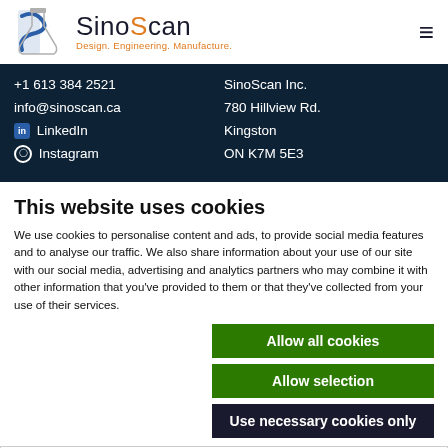[Figure (logo): SinoScan logo with stylized flask icon and tagline 'Design. Engineering. Manufacture.']
+1 613 384 2521
info@sinoscan.ca
LinkedIn
Instagram
SinoScan Inc.
780 Hillview Rd.
Kingston
ON K7M 5E3
This website uses cookies
We use cookies to personalise content and ads, to provide social media features and to analyse our traffic. We also share information about your use of our site with our social media, advertising and analytics partners who may combine it with other information that you've provided to them or that they've collected from your use of their services.
Allow all cookies
Allow selection
Use necessary cookies only
Necessary  Preferences  Statistics  Marketing  Show details